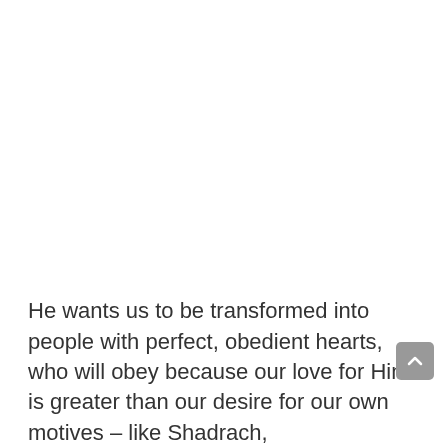He wants us to be transformed into people with perfect, obedient hearts, who will obey because our love for Him is greater than our desire for our own motives – like Shadrach, M…